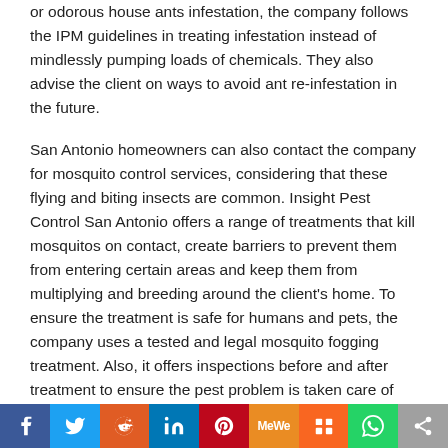or odorous house ants infestation, the company follows the IPM guidelines in treating infestation instead of mindlessly pumping loads of chemicals. They also advise the client on ways to avoid ant re-infestation in the future.
San Antonio homeowners can also contact the company for mosquito control services, considering that these flying and biting insects are common. Insight Pest Control San Antonio offers a range of treatments that kill mosquitos on contact, create barriers to prevent them from entering certain areas and keep them from multiplying and breeding around the client's home. To ensure the treatment is safe for humans and pets, the company uses a tested and legal mosquito fogging treatment. Also, it offers inspections before and after treatment to ensure the pest problem is taken care of completely.
Insight Pest Control San Antonio is located at 2507 Boardwalk St, San Antonio, TX, 78217, US. Clients interested in pest control services in the larger San Antonio area can contact the team at
[Figure (other): Social sharing bar with icons for Facebook, Twitter, Reddit, LinkedIn, Pinterest, MeWe, Mix, WhatsApp, and Share]